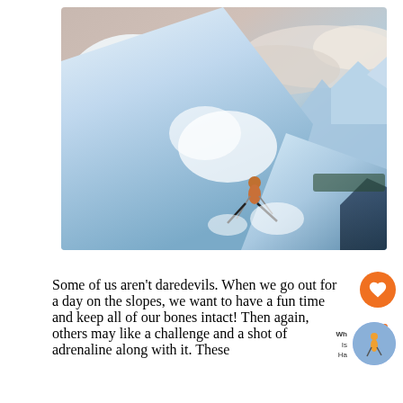[Figure (photo): A skier in an orange suit carving down a steep, deep-powder snowfield with dramatic snow spray, mountain peaks and cloud-filled sky in the background]
Some of us aren't daredevils. When we go out for a day on the slopes, we want to have a fun time and keep all of our bones intact! Then again, others may like a challenge and a shot of adrenaline along with it. These